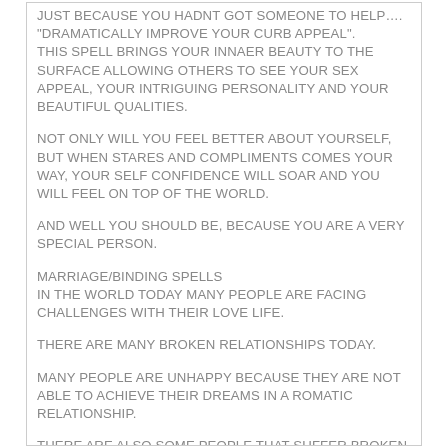JUST BECAUSE YOU HADNT GOT SOMEONE TO HELP….
"DRAMATICALLY IMPROVE YOUR CURB APPEAL".
THIS SPELL BRINGS YOUR INNAER BEAUTY TO THE SURFACE ALLOWING OTHERS TO SEE YOUR SEX APPEAL, YOUR INTRIGUING PERSONALITY AND YOUR BEAUTIFUL QUALITIES.
NOT ONLY WILL YOU FEEL BETTER ABOUT YOURSELF, BUT WHEN STARES AND COMPLIMENTS COMES YOUR WAY, YOUR SELF CONFIDENCE WILL SOAR AND YOU WILL FEEL ON TOP OF THE WORLD.
AND WELL YOU SHOULD BE, BECAUSE YOU ARE A VERY SPECIAL PERSON.
MARRIAGE/BINDING SPELLS
IN THE WORLD TODAY MANY PEOPLE ARE FACING CHALLENGES WITH THEIR LOVE LIFE.
THERE ARE MANY BROKEN RELATIONSHIPS TODAY.
MANY PEOPLE ARE UNHAPPY BECAUSE THEY ARE NOT ABLE TO ACHIEVE THEIR DREAMS IN A ROMATIC RELATIONSHIP.
THERE ARE ALSO SOME PEOPLE THAT SUFFER BROKEN MARRIAGE OR THAT